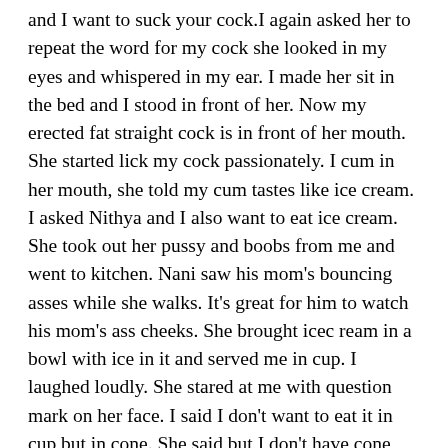and I want to suck your cock.I again asked her to repeat the word for my cock she looked in my eyes and whispered in my ear. I made her sit in the bed and I stood in front of her. Now my erected fat straight cock is in front of her mouth. She started lick my cock passionately. I cum in her mouth, she told my cum tastes like ice cream. I asked Nithya and I also want to eat ice cream. She took out her pussy and boobs from me and went to kitchen. Nani saw his mom's bouncing asses while she walks. It's great for him to watch his mom's ass cheeks. She brought icec ream in a bowl with ice in it and served me in cup. I laughed loudly. She stared at me with question mark on her face. I said I don't want to eat it in cup but in cone. She said but I don't have cone and I laughed again. She didn't understand and asked me what?. I said i want to eat ice cream in your pussy cone. She gave me sexy smile and agreed. She liked this kind of play. My staring at her